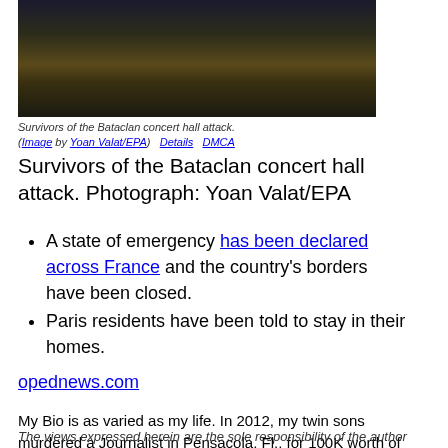[Figure (photo): Dark nighttime photograph showing survivors of the Bataclan concert hall attack, with silhouetted figures visible]
Survivors of the Bataclan concert hall attack. (Image by Yoan Valat/EPA)    Details    DMCA
Survivors of the Bataclan concert hall attack. Photograph: Yoan Valat/EPA
A state of emergency has been declared across France and the country's borders have been closed.
Paris residents have been told to stay in their homes.
opednews.com
My Bio is as varied as my life. In 2012, my twin sons murdered a Journalist in Pensacola, Fl., for 100K worth of "Magic The Gathering" playing cards and buried the body in my backyard. I was once a regular writer here, but PTSD from my son's (more...)
The views expressed herein are the sole responsibility of the author